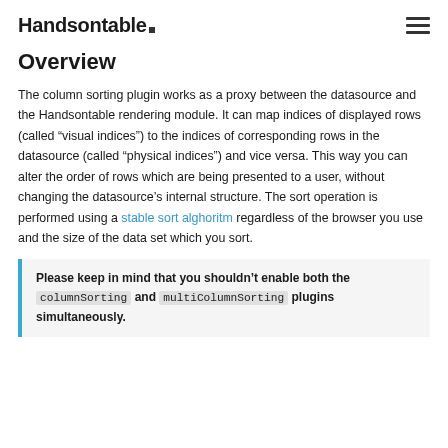Handsontable
Overview
The column sorting plugin works as a proxy between the datasource and the Handsontable rendering module. It can map indices of displayed rows (called “visual indices”) to the indices of corresponding rows in the datasource (called “physical indices”) and vice versa. This way you can alter the order of rows which are being presented to a user, without changing the datasource’s internal structure. The sort operation is performed using a stable sort alghoritm regardless of the browser you use and the size of the data set which you sort.
Please keep in mind that you shouldn’t enable both the columnSorting and multiColumnSorting plugins simultaneously.